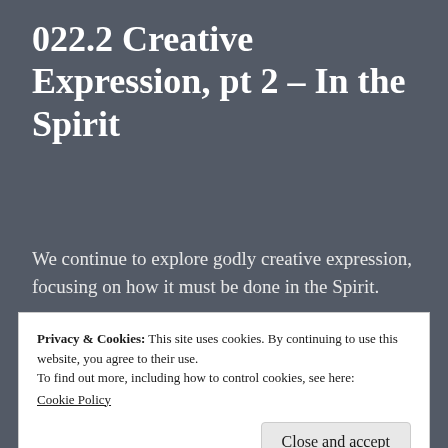022.2 Creative Expression, pt 2 – In the Spirit
We continue to explore godly creative expression, focusing on how it must be done in the Spirit.
Purposes of music in scripture (continued from part 1)
Privacy & Cookies: This site uses cookies. By continuing to use this website, you agree to their use.
To find out more, including how to control cookies, see here:
Cookie Policy
Close and accept
Giving this...